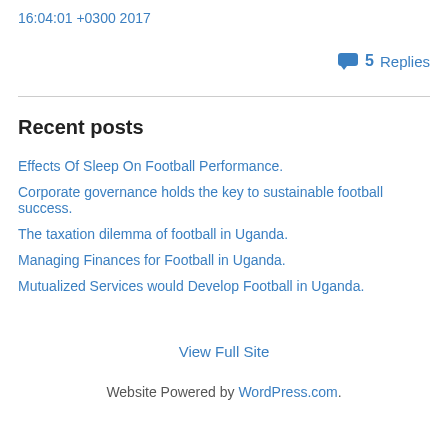16:04:01 +0300 2017
5 Replies
Recent posts
Effects Of Sleep On Football Performance.
Corporate governance holds the key to sustainable football success.
The taxation dilemma of football in Uganda.
Managing Finances for Football in Uganda.
Mutualized Services would Develop Football in Uganda.
View Full Site
Website Powered by WordPress.com.